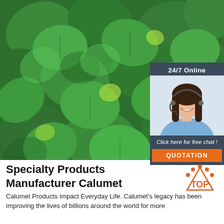[Figure (photo): Large close-up photo of green mint leaves filling the hero section of the page]
[Figure (infographic): Chat widget overlay showing '24/7 Online' header in dark blue, a photo of a smiling female customer service agent wearing a headset, italic text 'Click here for free chat!', and an orange QUOTATION button]
Specialty Products Manufacturer Calumet
[Figure (logo): Orange circular 'TOP' badge logo with dot pattern]
Calumet Products Impact Everyday Life. Calumet's legacy has been improving the lives of billions around the world for more